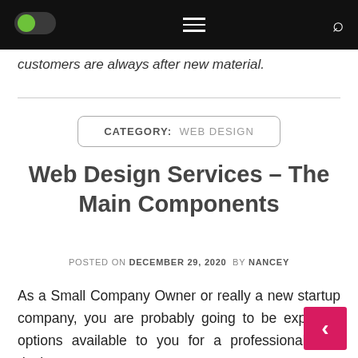[navigation bar with toggle switch, hamburger menu, and search icon]
customers are always after new material.
CATEGORY:  WEB DESIGN
Web Design Services – The Main Components
POSTED ON DECEMBER 29, 2020  BY NANCEY
As a Small Company Owner or really a new startup company, you are probably going to be exploring options available to you for a professional web design